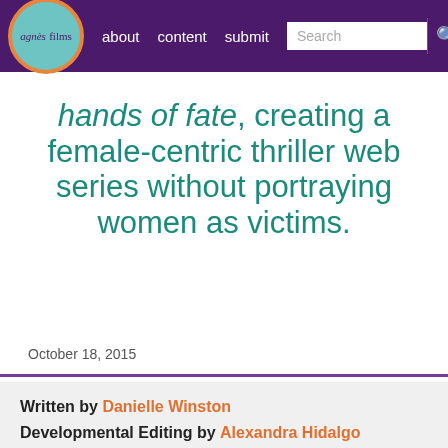agnès films | about | content | submit | Search
hands of fate, creating a female-centric thriller web series without portraying women as victims.
October 18, 2015
Written by Danielle Winston
Developmental Editing by Alexandra Hidalgo
Copy Editing and Posting by Sabrina Hirsch